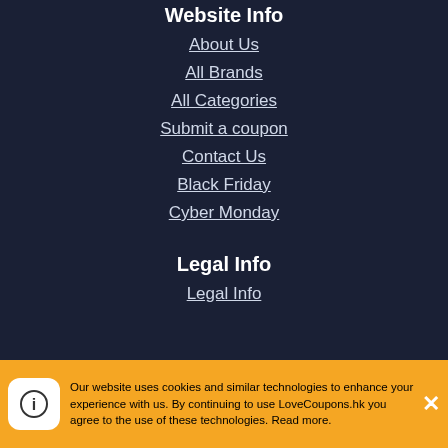Website Info
About Us
All Brands
All Categories
Submit a coupon
Contact Us
Black Friday
Cyber Monday
Legal Info
Legal Info
Our website uses cookies and similar technologies to enhance your experience with us. By continuing to use LoveCoupons.hk you agree to the use of these technologies. Read more.